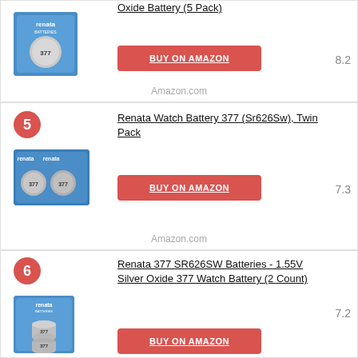[Figure (photo): Renata Silver Oxide Battery 5 Pack product image on blue blister card]
Oxide Battery (5 Pack)
BUY ON AMAZON
8.2
Amazon.com
5
Renata Watch Battery 377 (Sr626Sw), Twin Pack
[Figure (photo): Renata Watch Battery 377 Twin Pack product image on blue blister card]
BUY ON AMAZON
7.3
Amazon.com
6
Renata 377 SR626SW Batteries - 1.55V Silver Oxide 377 Watch Battery (2 Count)
[Figure (photo): Renata 377 SR626SW 2 Count product image on blue blister card]
7.2
BUY ON AMAZON